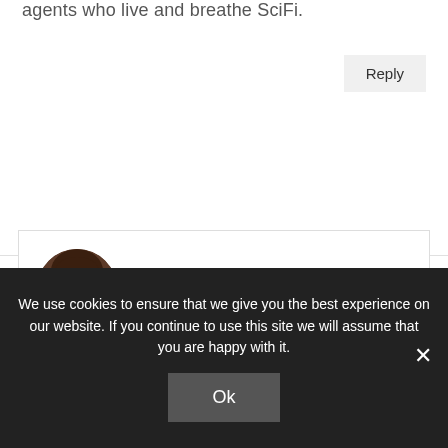agents who live and breathe SciFi.
Reply
[Figure (photo): Circular avatar photo of Jenni Brummett, a woman with dark hair wearing a green top, smiling.]
Jenni Brummett
July 16, 2013 at 2:34 pm
In this regard, I read a book recently by someone you represent, but I didn't realize it until I read the acknowledgements. 😮
We use cookies to ensure that we give you the best experience on our website. If you continue to use this site we will assume that you are happy with it.
Ok